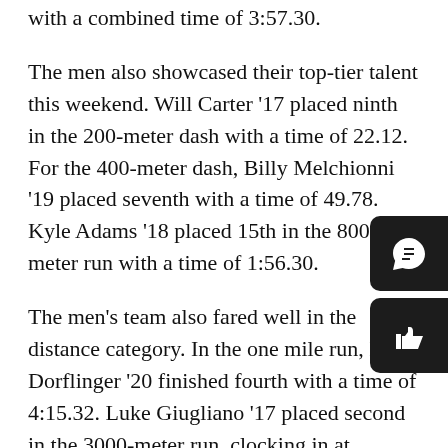with a combined time of 3:57.30.
The men also showcased their top-tier talent this weekend. Will Carter '17 placed ninth in the 200-meter dash with a time of 22.12. For the 400-meter dash, Billy Melchionni '19 placed seventh with a time of 49.78. Kyle Adams '18 placed 15th in the 800-meter run with a time of 1:56.30.
The men's team also fared well in the distance category. In the one mile run, Drew Dorflinger '20 finished fourth with a time of 4:15.32. Luke Giugliano '17 placed second in the 3000-meter run, clocking in at 8:26.17.
Head coach Kevin Donner was pleased with his team's successes at the meet, reflecting on how the athletes can build on these performances for the rest of the season.
“The Penn State National was a high level meet that we